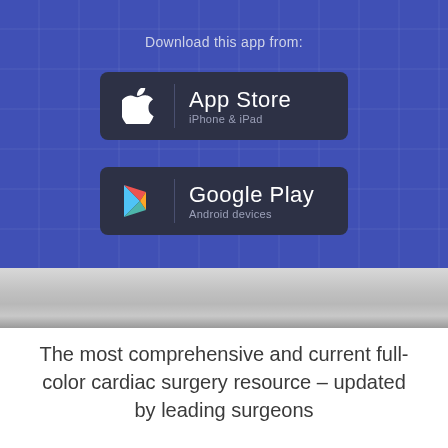Download this app from:
[Figure (screenshot): App Store download button with Apple logo, text 'App Store' and 'iPhone & iPad' on dark background]
[Figure (screenshot): Google Play download button with Play Store triangle logo, text 'Google Play' and 'Android devices' on dark background]
The most comprehensive and current full-color cardiac surgery resource – updated by leading surgeons